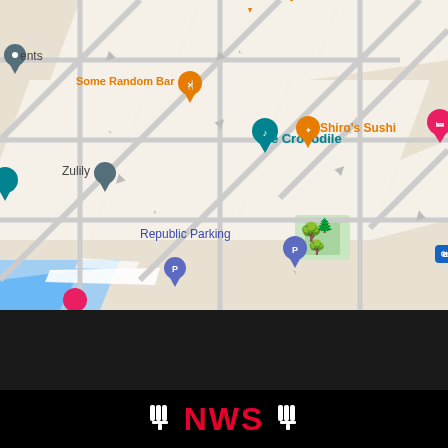[Figure (map): Google Maps screenshot showing a street map of Seattle's Belltown/downtown area. Visible streets include Wall St, Bell St, Vine St, 2nd Ave, Battery St, 4th Ave. Points of interest labeled include: French Bakery, Some Random Bar, The Crocodile, Zulily, Shiro's Sushi, Bangrak Market, Umi Sake House, Republic Parking. Map pins in orange (restaurants), teal (The Crocodile), dark teal (location pins for Zulily and an unnamed business), purple (parking), pink (Be... hotel/lodging), blue (shopping). Water/Elliott Bay visible in bottom left corner.]
[Figure (logo): NWS logo with hand/microphone icons on either side of red bold NWS text on black background, partially visible at bottom of page]